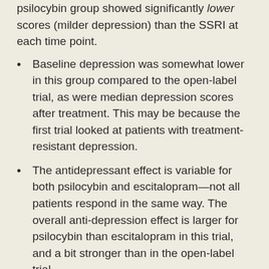psilocybin group showed significantly lower scores (milder depression) than the SSRI at each time point.
Baseline depression was somewhat lower in this group compared to the open-label trial, as were median depression scores after treatment. This may be because the first trial looked at patients with treatment-resistant depression.
The antidepressant effect is variable for both psilocybin and escitalopram—not all patients respond in the same way. The overall anti-depression effect is larger for psilocybin than escitalopram in this trial, and a bit stronger than in the open-label trial.
So far, so good. But they also conducted fMRI brain